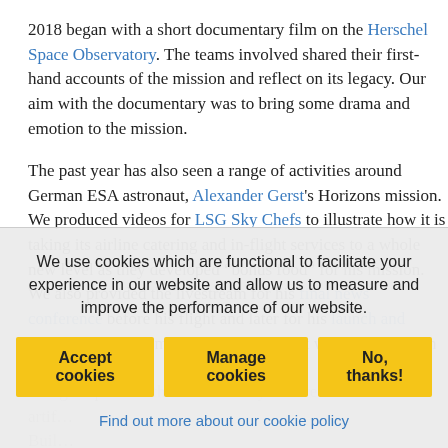2018 began with a short documentary film on the Herschel Space Observatory. The teams involved shared their first-hand accounts of the mission and reflect on its legacy. Our aim with the documentary was to bring some drama and emotion to the mission.
The past year has also seen a range of activities around German ESA astronaut, Alexander Gerst's Horizons mission. We produced videos for LSG Sky Chefs to illustrate how it is taking its airline catering and in-flight services to a whole new level as they developed “bonus food” for his mission. We also provided the livestream for his final news conference before his flight and later for his launch and docking. After six months in space, Gerst will shortly return
We use cookies which are functional to facilitate your experience in our website and allow us to measure and improve the performance of our website.
Accept cookies | Manage cookies | No, thanks!
Find out more about our cookie policy